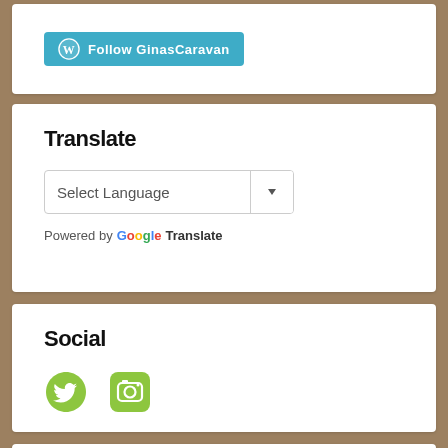[Figure (screenshot): WordPress Follow button: blue rounded button with WordPress logo and text 'Follow GinasCaravan']
Translate
[Figure (screenshot): Google Translate widget with 'Select Language' dropdown and 'Powered by Google Translate' text]
Social
[Figure (screenshot): Social media icons: green Twitter bird icon and green Instagram camera icon]
Archives